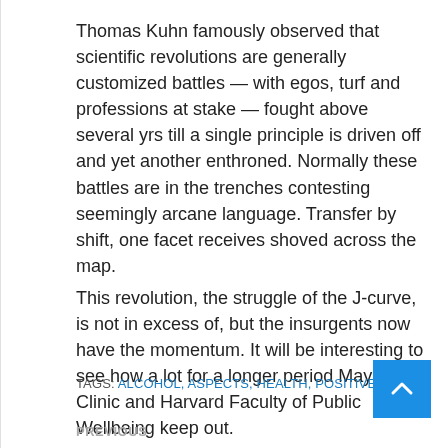Thomas Kuhn famously observed that scientific revolutions are generally customized battles — with egos, turf and professions at stake — fought above several yrs till a single principle is driven off and yet another enthroned. Normally these battles are in the trenches contesting seemingly arcane language. Transfer by shift, one facet receives shoved across the map.
This revolution, the struggle of the J-curve, is not in excess of, but the insurgents now have the momentum. It will be interesting to see how a lot for a longer period Mayo Clinic and Harvard Faculty of Public Wellbeing keep out.
TAGS: ALCOHOL, ASPECTS, HEALTH, POSITIVE
PREVIOUS